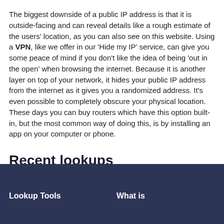The biggest downside of a public IP address is that it is outside-facing and can reveal details like a rough estimate of the users' location, as you can also see on this website. Using a VPN, like we offer in our 'Hide my IP' service, can give you some peace of mind if you don't like the idea of being 'out in the open' when browsing the internet. Because it is another layer on top of your network, it hides your public IP address from the internet as it gives you a randomized address. It's even possible to completely obscure your physical location. These days you can buy routers which have this option built-in, but the most common way of doing this, is by installing an app on your computer or phone.
Recent lookups
192.168.178.24, 10.0.0.12, 192.168.10.155, 192.168.2.49, 172.20.10.4, 192.168.0.11, 192.168.0.122.
Lookup Tools | What is